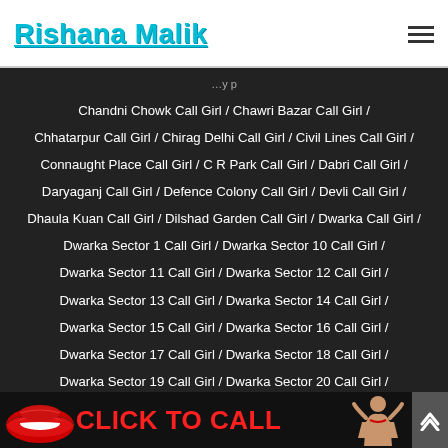Rishana Malik
Chandni Chowk Call Girl / Chawri Bazar Call Girl / Chhatarpur Call Girl / Chirag Delhi Call Girl / Civil Lines Call Girl / Connaught Place Call Girl / C R Park Call Girl / Dabri Call Girl / Daryaganj Call Girl / Defence Colony Call Girl / Devli Call Girl / Dhaula Kuan Call Girl / Dilshad Garden Call Girl / Dwarka Call Girl / Dwarka Sector 1 Call Girl / Dwarka Sector 10 Call Girl / Dwarka Sector 11 Call Girl / Dwarka Sector 12 Call Girl / Dwarka Sector 13 Call Girl / Dwarka Sector 14 Call Girl / Dwarka Sector 15 Call Girl / Dwarka Sector 16 Call Girl / Dwarka Sector 17 Call Girl / Dwarka Sector 18 Call Girl / Dwarka Sector 19 Call Girl / Dwarka Sector 20 Call Girl / Dwarka Sector 22 Call Girl / Dwarka Sector 23 Call Girl / Dwarka Sector 27 Call Girl / Dwarka Sector 3 Call Girl /
[Figure (infographic): Click to Call banner with red lips graphic and woman illustration]